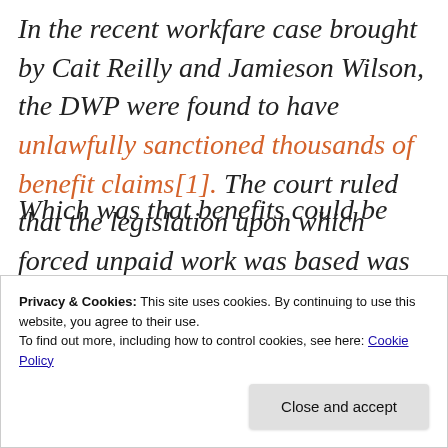In the recent workfare case brought by Cait Reilly and Jamieson Wilson, the DWP were found to have unlawfully sanctioned thousands of benefit claims[1].  The court ruled that the legislation upon which forced unpaid work was based was not legal and the information given to
Privacy & Cookies: This site uses cookies. By continuing to use this website, you agree to their use. To find out more, including how to control cookies, see here: Cookie Policy
Which was that benefits could be